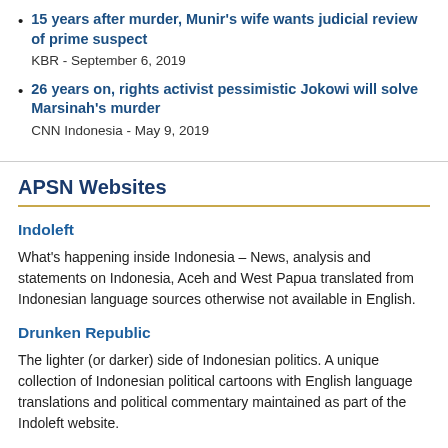15 years after murder, Munir's wife wants judicial review of prime suspect
KBR - September 6, 2019
26 years on, rights activist pessimistic Jokowi will solve Marsinah's murder
CNN Indonesia - May 9, 2019
APSN Websites
Indoleft
What's happening inside Indonesia – News, analysis and statements on Indonesia, Aceh and West Papua translated from Indonesian language sources otherwise not available in English.
Drunken Republic
The lighter (or darker) side of Indonesian politics. A unique collection of Indonesian political cartoons with English language translations and political commentary maintained as part of the Indoleft website.
APSN Archive Site